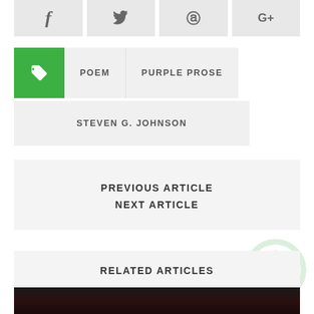[Figure (other): Social share buttons: Facebook (f), Twitter (bird icon), Pinterest (P), Google+ (G+) — grey rectangular buttons in a row]
POEM
PURPLE PROSE
STEVEN G. JOHNSON
PREVIOUS ARTICLE
NEXT ARTICLE
RELATED ARTICLES
[Figure (photo): Dark fantasy artwork showing a demonic creature with red glowing veins/energy and smoke, mostly obscured at the bottom of the page]